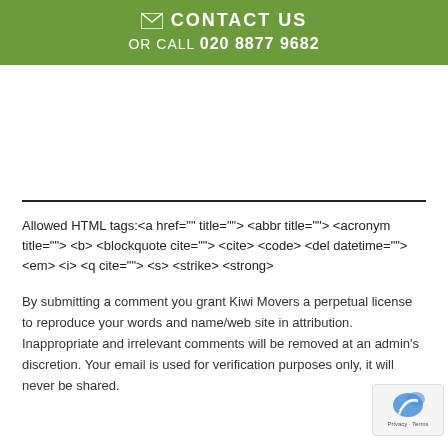CONTACT US | OR CALL 020 8877 9682
Allowed HTML tags:<a href="" title=""> <abbr title=""> <acronym title=""> <b> <blockquote cite=""> <cite> <code> <del datetime=""> <em> <i> <q cite=""> <s> <strike> <strong>
By submitting a comment you grant Kiwi Movers a perpetual license to reproduce your words and name/web site in attribution. Inappropriate and irrelevant comments will be removed at an admin's discretion. Your email is used for verification purposes only, it will never be shared.